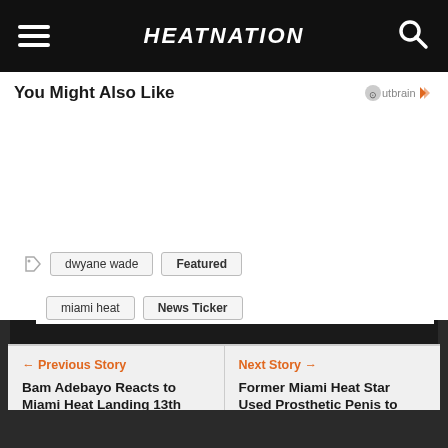HEATNATION
You Might Also Like
dwyane wade
Featured
miami heat
News Ticker
← Previous Story
Bam Adebayo Reacts to Miami Heat Landing 13th Overall Pick
Next Story →
Former Miami Heat Star Used Prosthetic Penis to Pass Drug Test for 2004 Olympics